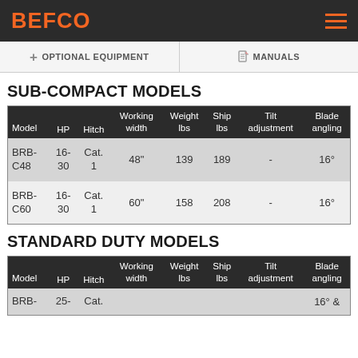BEFCO
+ OPTIONAL EQUIPMENT   MANUALS
SUB-COMPACT MODELS
| Model | HP | Hitch | Working width | Weight lbs | Ship lbs | Tilt adjustment | Blade angling |
| --- | --- | --- | --- | --- | --- | --- | --- |
| BRB-C48 | 16-30 | Cat. 1 | 48" | 139 | 189 | - | 16° |
| BRB-C60 | 16-30 | Cat. 1 | 60" | 158 | 208 | - | 16° |
STANDARD DUTY MODELS
| Model | HP | Hitch | Working width | Weight lbs | Ship lbs | Tilt adjustment | Blade angling |
| --- | --- | --- | --- | --- | --- | --- | --- |
| BRB- | 25- | Cat. |  |  |  |  | 16° & |